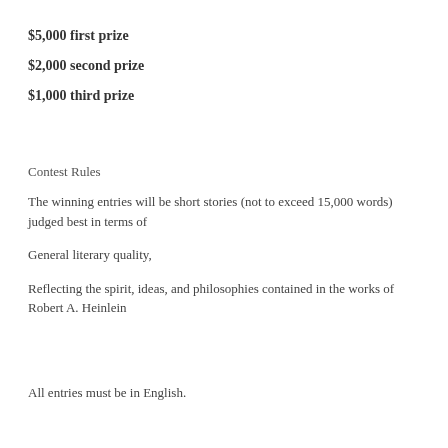$5,000 first prize
$2,000 second prize
$1,000 third prize
Contest Rules
The winning entries will be short stories (not to exceed 15,000 words) judged best in terms of
General literary quality,
Reflecting the spirit, ideas, and philosophies contained in the works of Robert A. Heinlein
All entries must be in English.